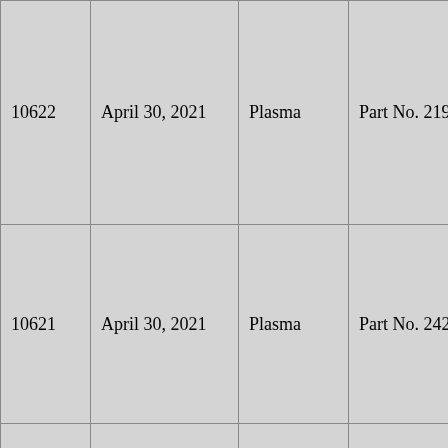| 10622 | April 30, 2021 | Plasma | Part No. 2192 is c… |
| 10621 | April 30, 2021 | Plasma | Part No. 2425 is c… |
|  |  |  |  |